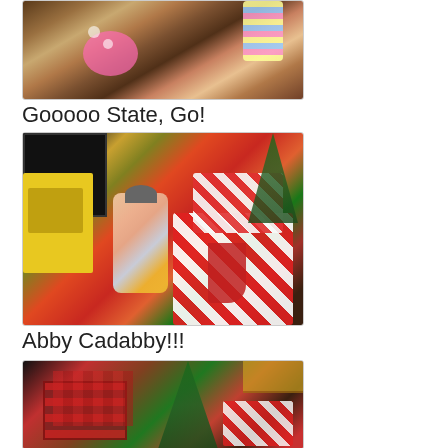[Figure (photo): Children near a fireplace with Christmas gifts and colorful striped socks/pajamas visible]
Gooooo State, Go!
[Figure (photo): Child wearing a cap sitting among large red and white wrapped Christmas presents near a Christmas tree and yellow toy kitchen]
Abby Cadabby!!!
[Figure (photo): Scene with Christmas tree and red plaid wrapped presents in a room]